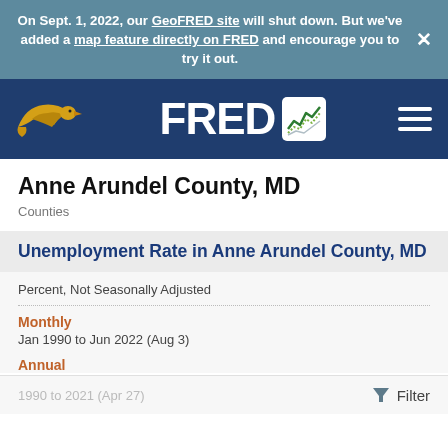On Sept. 1, 2022, our GeoFRED site will shut down. But we've added a map feature directly on FRED and encourage you to try it out. ×
[Figure (logo): FRED (Federal Reserve Economic Data) logo with eagle bird icon and navigation header on dark blue background]
Anne Arundel County, MD
Counties
Unemployment Rate in Anne Arundel County, MD
Percent, Not Seasonally Adjusted
Monthly
Jan 1990 to Jun 2022 (Aug 3)
Annual
1990 to 2021 (Apr 27)
Filter